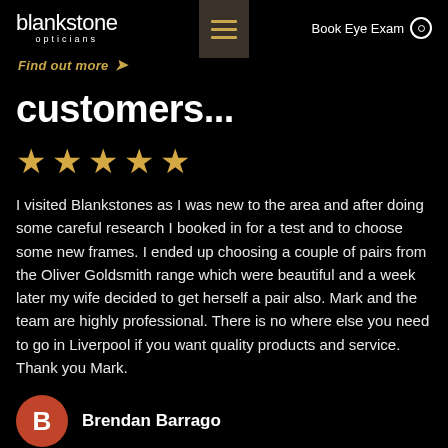[Figure (logo): Blankstone Opticians logo — white text on black background]
[Figure (other): Hamburger menu button with three gold lines on dark brown background]
Book Eye Exam
Find out more →
customers...
[Figure (other): Five gold star rating icons]
I visited Blankstones as I was new to the area and after doing some careful research I booked in for a test and to choose some new frames. I ended up choosing a couple of pairs from the Oliver Goldsmith range which were beautiful and a week later my wife decided to get herself a pair also. Mark and the team are highly professional. There is no where else you need to go in Liverpool if you want quality products and service. Thank you Mark.
Brendan Barrago